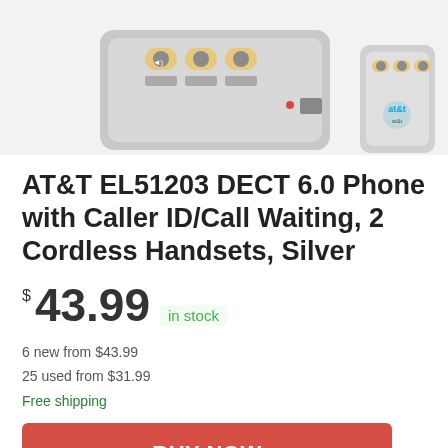[Figure (photo): Top portion of AT&T EL51203 cordless phone system showing two handset bases, silver color, with AT&T logo visible]
AT&T EL51203 DECT 6.0 Phone with Caller ID/Call Waiting, 2 Cordless Handsets, Silver
$43.99 in stock
6 new from $43.99
25 used from $31.99
Free shipping
BUY NOW